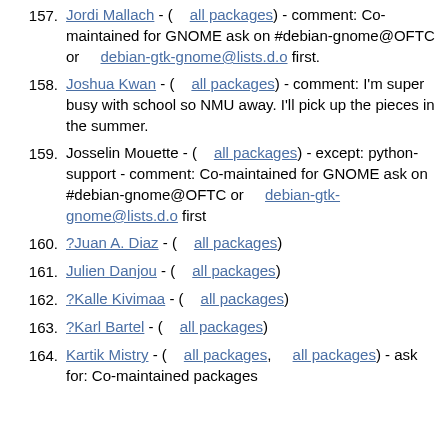157. Jordi Mallach - ( all packages) - comment: Co-maintained for GNOME ask on #debian-gnome@OFTC or  debian-gtk-gnome@lists.d.o first.
158. Joshua Kwan - ( all packages) - comment: I'm super busy with school so NMU away. I'll pick up the pieces in the summer.
159. Josselin Mouette - ( all packages) - except: python-support - comment: Co-maintained for GNOME ask on #debian-gnome@OFTC or  debian-gtk-gnome@lists.d.o first
160. ?Juan A. Diaz - ( all packages)
161. Julien Danjou - ( all packages)
162. ?Kalle Kivimaa - ( all packages)
163. ?Karl Bartel - ( all packages)
164. Kartik Mistry - ( all packages,  all packages) - ask for: Co-maintained packages